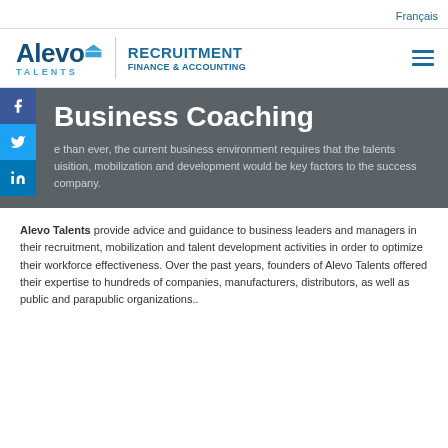Français
[Figure (logo): Alevo Talents logo with Recruitment Finance & Accounting text and hamburger menu icon]
Business Coaching
e than ever, the current business environment requires that the talents uisition, mobilization and development would be key factors to the success company.
Alevo Talents provide advice and guidance to business leaders and managers in their recruitment, mobilization and talent development activities in order to optimize their workforce effectiveness. Over the past years, founders of Alevo Talents offered their expertise to hundreds of companies, manufacturers, distributors, as well as public and parapublic organizations..